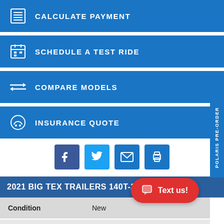CALCULATE PAYMENT
SCHEDULE A TEST RIDE
COMPARE MODELS
INSURANCE QUOTE
[Figure (infographic): Social sharing icons: Facebook, Twitter, Email, Print]
2021 BIG TEX TRAILERS 14OT-26 • GET PRICE
| Attribute | Value |
| --- | --- |
| Condition | New |
| Category | Equipment Trailers |
| Model Type | Tilt |
| Model Code | 14OT26 |
| Color | Black |